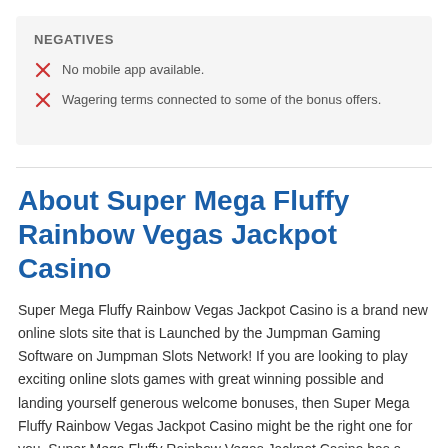NEGATIVES
No mobile app available.
Wagering terms connected to some of the bonus offers.
About Super Mega Fluffy Rainbow Vegas Jackpot Casino
Super Mega Fluffy Rainbow Vegas Jackpot Casino is a brand new online slots site that is Launched by the Jumpman Gaming Software on Jumpman Slots Network! If you are looking to play exciting online slots games with great winning possible and landing yourself generous welcome bonuses, then Super Mega Fluffy Rainbow Vegas Jackpot Casino might be the right one for you. Super Mega Fluffy Rainbow Vegas Jackpot Casino has a new and exciting range of promotions and bonuses to ensure that casino players experience